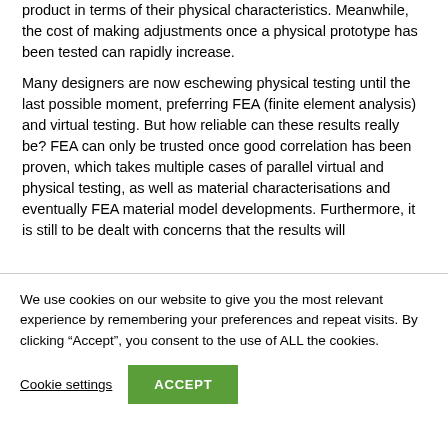product in terms of their physical characteristics. Meanwhile, the cost of making adjustments once a physical prototype has been tested can rapidly increase.
Many designers are now eschewing physical testing until the last possible moment, preferring FEA (finite element analysis) and virtual testing. But how reliable can these results really be? FEA can only be trusted once good correlation has been proven, which takes multiple cases of parallel virtual and physical testing, as well as material characterisations and eventually FEA material model developments. Furthermore, it is still to be dealt with concerns that the results will
We use cookies on our website to give you the most relevant experience by remembering your preferences and repeat visits. By clicking “Accept”, you consent to the use of ALL the cookies.
Cookie settings
ACCEPT